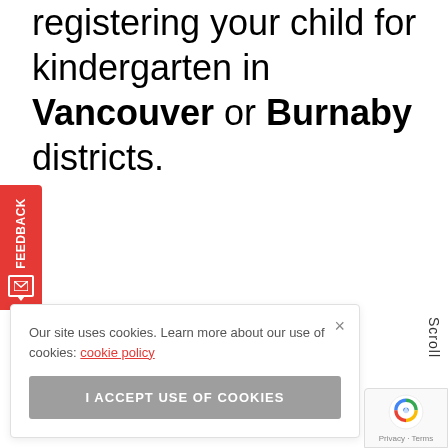registering your child for kindergarten in Vancouver or Burnaby districts.
[Figure (other): Red feedback tab on left side with rotated 'Feedback' text and envelope icon]
Our site uses cookies. Learn more about our use of cookies: cookie policy
I ACCEPT USE OF COOKIES
Scroll
[Figure (other): Google reCAPTCHA logo with Privacy - Terms text]